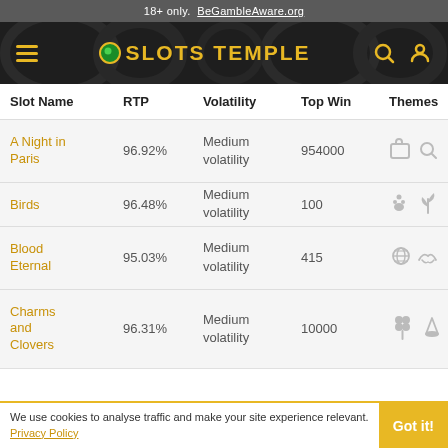18+ only. BeGambleAware.org
[Figure (logo): Slots Temple website header with hamburger menu, logo with gem icon, search and user icons on dark background]
| Slot Name | RTP | Volatility | Top Win | Themes |
| --- | --- | --- | --- | --- |
| A Night in Paris | 96.92% | Medium volatility | 954000 | 🎰🔍 |
| Birds | 96.48% | Medium volatility | 100 | 🐾🌱 |
| Blood Eternal | 95.03% | Medium volatility | 415 | 🌐~ |
| Charms and Clovers | 96.31% | Medium volatility | 10000 | 🍀🧙 |
We use cookies to analyse traffic and make your site experience relevant. Privacy Policy  Got it!